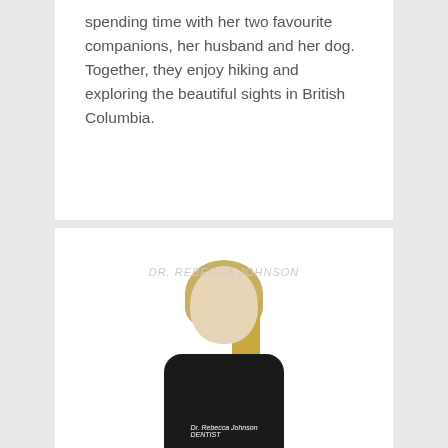spending time with her two favourite companions, her husband and her dog. Together, they enjoy hiking and exploring the beautiful sights in British Columbia.
[Figure (photo): Portrait photo of a blonde woman wearing a black jacket/scrubs with a name tag, photographed against a white background.]